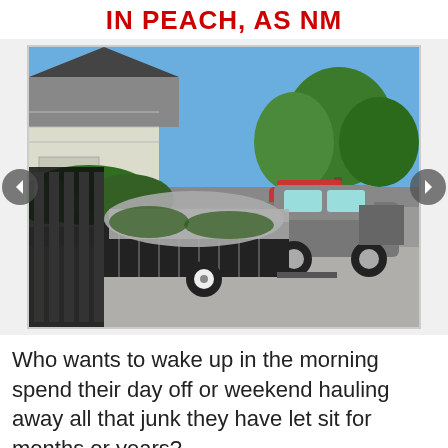IN PEACH, AS NM
[Figure (photo): A pickup truck towing a trailer loaded with yard waste and debris, covered with a silver tarp, parked on a residential driveway in front of a house with trees and shrubs in the background on a sunny day.]
Who wants to wake up in the morning spend their day off or weekend hauling away all that junk they have let sit for months or years?